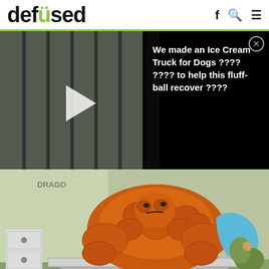defused
[Figure (screenshot): Video thumbnail showing a blurry scene through metal bars, with a play button overlay, and a dark semi-transparent overlay panel reading: We made an Ice Cream Truck for Dogs ???? ???? to help this fluff-ball recover ???? with a close (X) button]
[Figure (illustration): Cartoon illustration from DragonArte showing The Thing (Marvel character) as an oversized orange rocky figure lying on a medical scale/examination table in a doctor's office, looking unhappy. Another character is visible to the right. YouTube DragonArte BR watermark at the bottom.]
Advertisement
10. Well, that's uncertain